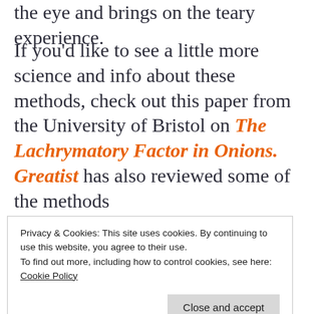the eye and brings on the teary experience.
If you'd like to see a little more science and info about these methods, check out this paper from the University of Bristol on The Lachrymatory Factor in Onions. Greatist has also reviewed some of the methods
Privacy & Cookies: This site uses cookies. By continuing to use this website, you agree to their use.
To find out more, including how to control cookies, see here:
Cookie Policy
Close and accept
deduce tearing when cutting